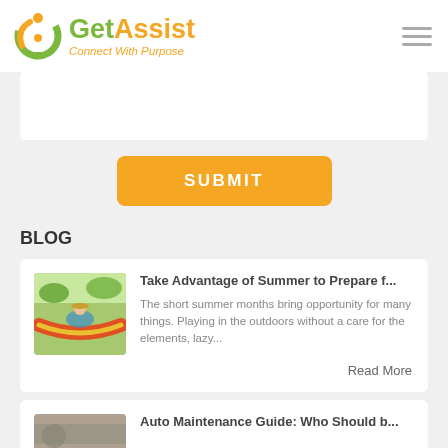GetAssist — Connect With Purpose
[Figure (screenshot): Form text input area (white box on gray background)]
[Figure (other): Orange SUBMIT button]
BLOG
[Figure (photo): Person reading in a hammock outdoors]
Take Advantage of Summer to Prepare f...
The short summer months bring opportunity for many things. Playing in the outdoors without a care for the elements, lazy...
Read More
[Figure (photo): Auto Maintenance blog post thumbnail — partially visible]